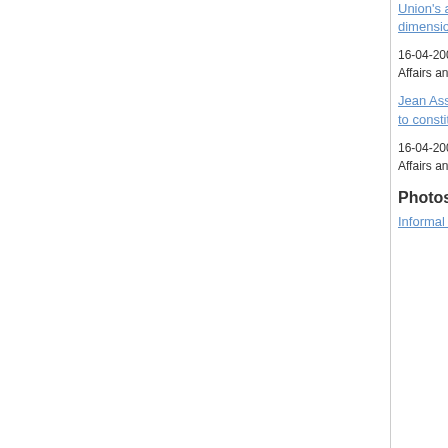Union's attachment to the human dimension of OSCE activities
16-04-2005 • Press Release • General Affairs and External Relations
Jean Asselborn calls for a rapid return to constitutional normality in Ecuador
16-04-2005 • Press Release • General Affairs and External Relations
Photos
Informal Meeting of Foreign